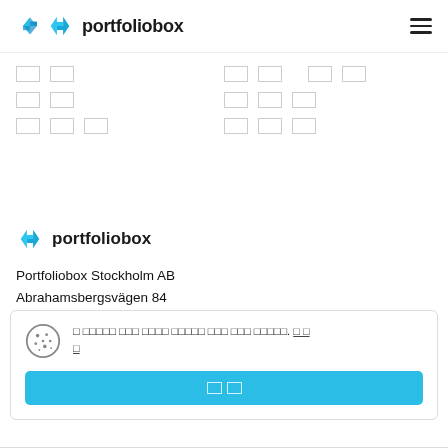portfoliobox
[Figure (other): Navigation placeholder boxes in two columns]
[Figure (logo): Portfoliobox logo with text in footer]
Portfoliobox Stockholm AB
Abrahamsbergsvägen 84
168 30 Bromma
Cookie consent banner with accept button